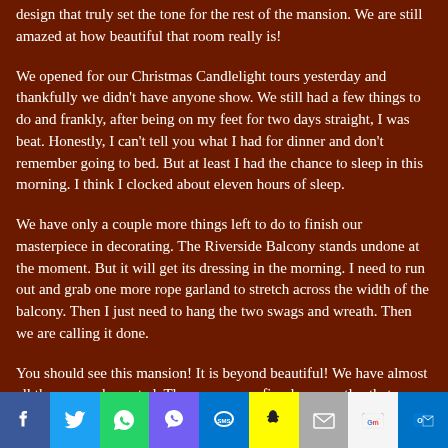design that truly set the tone for the rest of the mansion. We are still amazed at how beautiful that room really is!
We opened for our Christmas Candlelight tours yesterday and thankfully we didn't have anyone show. We still had a few things to do and frankly, after being on my feet for two days straight, I was beat. Honestly, I can't tell you what I had for dinner and don't remember going to bed. But at least I had the chance to sleep in this morning. I think I clocked about eleven hours of sleep.
We have only a couple more things left to do to finish our masterpiece in decorating. The Riverside Balcony stands undone at the moment. But it will get its dressing in the morning. I need to run out and grab one more rope garland to stretch across the width of the balcony. Then I just need to hang the two swags and wreath. Then we are calling it done.
You should see this mansion! It is beyond beautiful! We have almost all the rooms decorated. There are seven fireplace mantles that are decorated in different themes. The Grand Hallway is a sight to see! With the Christmas tree to greet you and the beautiful
[Figure (infographic): Social sharing bar with icons: Facebook, Twitter, WhatsApp, Viber, SMS, Snapchat, Email, Gmail, Outlook]